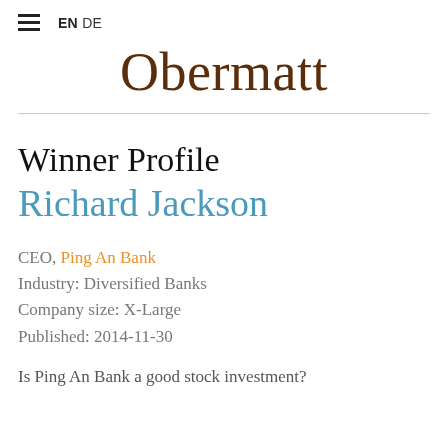≡ EN DE
Obermatt
Winner Profile
Richard Jackson
CEO, Ping An Bank
Industry: Diversified Banks
Company size: X-Large
Published: 2014-11-30
Is Ping An Bank a good stock investment?